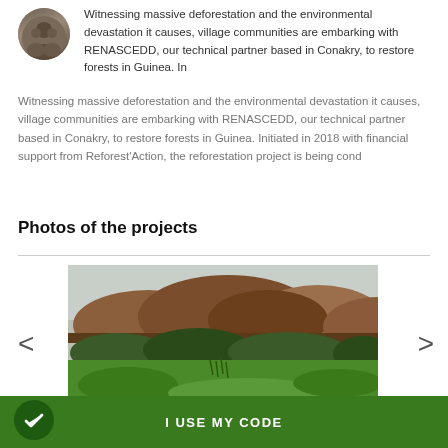Witnessing massive deforestation and the environmental devastation it causes, village communities are embarking with RENASCEDD, our technical partner based in Conakry, to restore forests in Guinea. In
Witnessing massive deforestation and the environmental devastation it causes, village communities are embarking with RENASCEDD, our technical partner based in Conakry, to restore forests in Guinea. Initiated in 2018 with financial support from Reforest'Action, the reforestation project is being cond
Photos of the projects
[Figure (photo): A landscape photo showing a green meadow in the foreground with trees and forested hills in the background under an overcast sky.]
I USE MY CODE